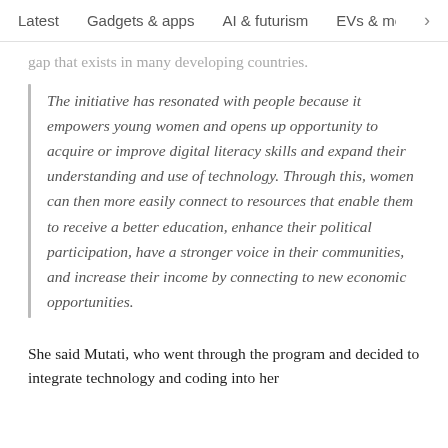Latest   Gadgets & apps   AI & futurism   EVs & mobil  >
gap that exists in many developing countries.
The initiative has resonated with people because it empowers young women and opens up opportunity to acquire or improve digital literacy skills and expand their understanding and use of technology. Through this, women can then more easily connect to resources that enable them to receive a better education, enhance their political participation, have a stronger voice in their communities, and increase their income by connecting to new economic opportunities.
She said Mutati, who went through the program and decided to integrate technology and coding into her